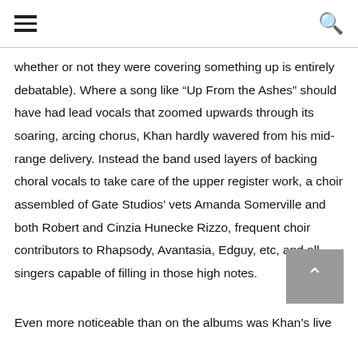☰  🔍
whether or not they were covering something up is entirely debatable). Where a song like “Up From the Ashes” should have had lead vocals that zoomed upwards through its soaring, arcing chorus, Khan hardly wavered from his mid-range delivery. Instead the band used layers of backing choral vocals to take care of the upper register work, a choir assembled of Gate Studios’ vets Amanda Somerville and both Robert and Cinzia Hunecke Rizzo, frequent choir contributors to Rhapsody, Avantasia, Edguy, etc, and all singers capable of filling in those high notes.
Even more noticeable than on the albums was Khan’s live